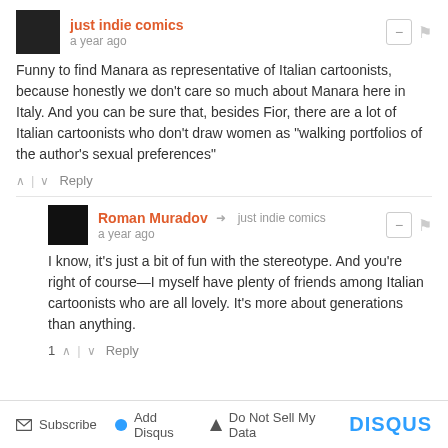just indie comics — a year ago
Funny to find Manara as representative of Italian cartoonists, because honestly we don't care so much about Manara here in Italy. And you can be sure that, besides Fior, there are a lot of Italian cartoonists who don't draw women as "walking portfolios of the author's sexual preferences"
Roman Muradov → just indie comics — a year ago
I know, it's just a bit of fun with the stereotype. And you're right of course—I myself have plenty of friends among Italian cartoonists who are all lovely. It's more about generations than anything.
Subscribe  Add Disqus  Do Not Sell My Data  DISQUS